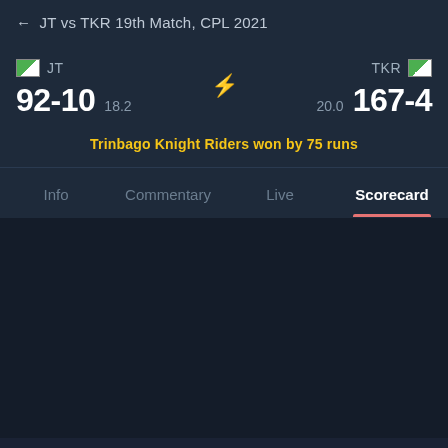← JT vs TKR 19th Match, CPL 2021
JT 92-10 18.2 ⚡ 20.0 167-4 TKR
Trinbago Knight Riders won by 75 runs
Info  Commentary  Live  Scorecard